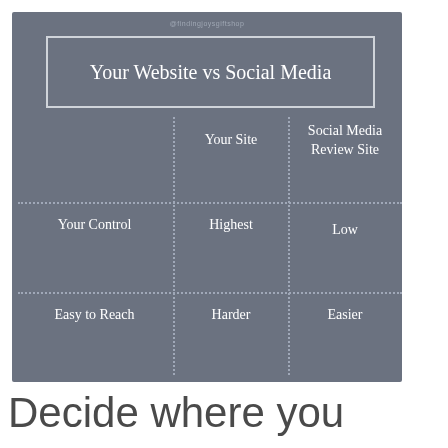[Figure (infographic): Comparison table/grid on gray background: 'Your Website vs Social Media' with columns 'Your Site' and 'Social Media Review Site', rows 'Your Control' (Highest vs Low) and 'Easy to Reach' (Harder vs Easier)]
Decide where you